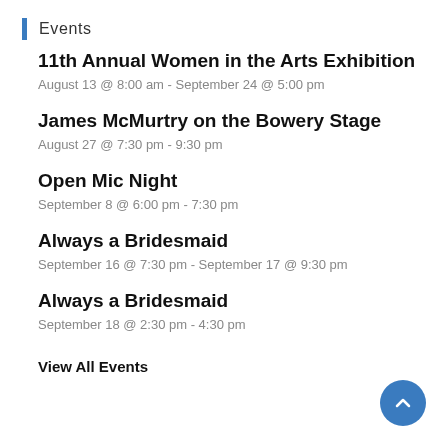Events
11th Annual Women in the Arts Exhibition
August 13 @ 8:00 am - September 24 @ 5:00 pm
James McMurtry on the Bowery Stage
August 27 @ 7:30 pm - 9:30 pm
Open Mic Night
September 8 @ 6:00 pm - 7:30 pm
Always a Bridesmaid
September 16 @ 7:30 pm - September 17 @ 9:30 pm
Always a Bridesmaid
September 18 @ 2:30 pm - 4:30 pm
View All Events